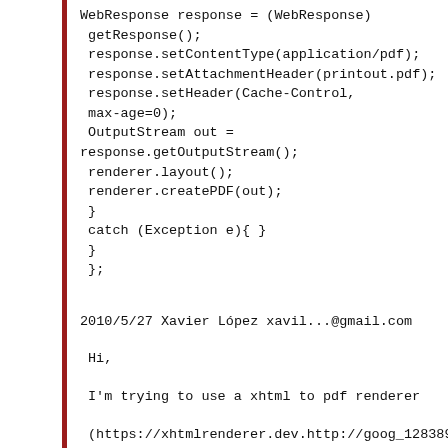WebResponse response = (WebResponse)
 getResponse();
 response.setContentType(application/pdf);
 response.setAttachmentHeader(printout.pdf);
 response.setHeader(Cache-Control,
 max-age=0);
 OutputStream out =
response.getOutputStream();
 renderer.layout();
 renderer.createPDF(out);
 }
 catch (Exception e){ }
 }
 };
2010/5/27 Xavier López xavil...@gmail.com
Hi,
I'm trying to use a xhtml to pdf renderer
(https://xhtmlrenderer.dev.http://goog_128389
5825...